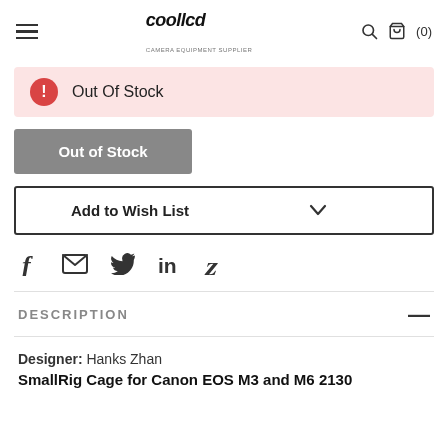coollcd (0)
Out Of Stock
Out of Stock
Add to Wish List
[Figure (other): Social share icons: Facebook, Email, Twitter, LinkedIn, Pinterest]
DESCRIPTION
Designer: Hanks Zhan SmallRig Cage for Canon EOS M3 and M6 2130